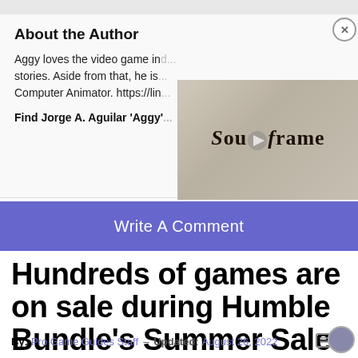About the Author
Aggy loves the video game industry and stories. Aside from that, he is a Computer Animator. https://lin...
Find Jorge A. Aguilar 'Aggy'...
[Figure (screenshot): Video thumbnail showing 'Soulframe' game logo in gothic/blackletter font on a stone-textured background with a play button]
Write A Comment
Hundreds of games are on sale during Humble Bundle's Summer Sale! Incredible savings!
By: Pro Game Guides Staff – Updated: August 26, 2022